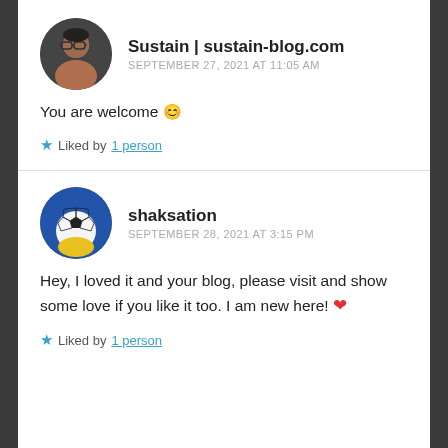[Figure (photo): Circular avatar of a man with glasses]
Sustain | sustain-blog.com
SEPTEMBER 27, 2021 AT 11:05 AM
You are welcome 😊
★ Liked by 1 person
[Figure (photo): Circular avatar showing a soccer ball with blue background]
shaksation
SEPTEMBER 28, 2021 AT 3:15 PM
Hey, I loved it and your blog, please visit and show some love if you like it too. I am new here! ❤
★ Liked by 1 person